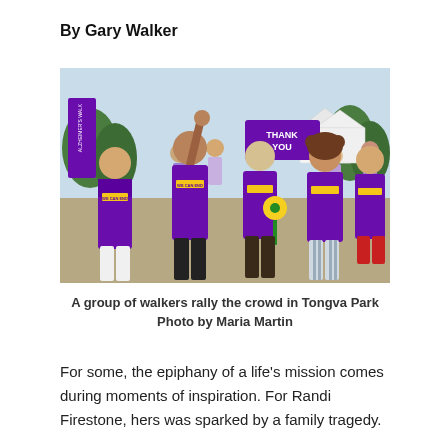By Gary Walker
[Figure (photo): A group of people wearing purple t-shirts that say 'WE CAN END ALZHEIMER'S' walking together at an outdoor event in Tongva Park. One woman in the center raises her fist in the air. A 'THANK YOU' banner is visible in the background. A girl holds a large yellow flower.]
A group of walkers rally the crowd in Tongva Park
Photo by Maria Martin
For some, the epiphany of a life's mission comes during moments of inspiration. For Randi Firestone, hers was sparked by a family tragedy.